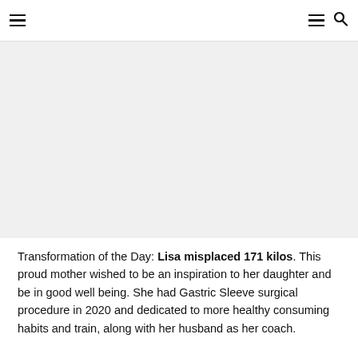Navigation header with hamburger menu icons and search icon
[Figure (photo): Large image area showing a transformation photo (blank/white in this render)]
Transformation of the Day: Lisa misplaced 171 kilos. This proud mother wished to be an inspiration to her daughter and be in good well being. She had Gastric Sleeve surgical procedure in 2020 and dedicated to more healthy consuming habits and train, along with her husband as her coach.